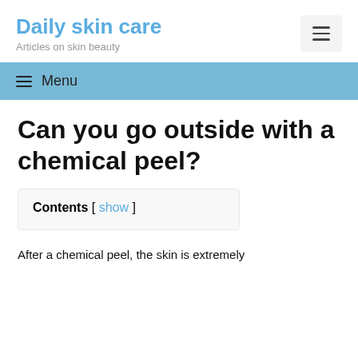Daily skin care
Articles on skin beauty
Can you go outside with a chemical peel?
Contents [ show ]
After a chemical peel, the skin is extremely